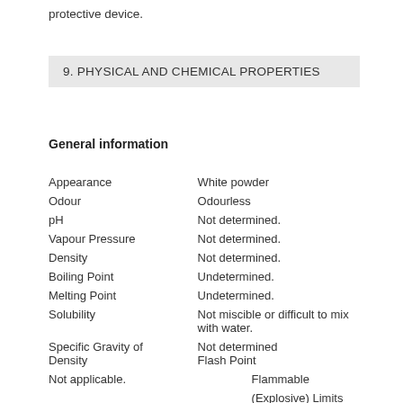protective device.
9. PHYSICAL AND CHEMICAL PROPERTIES
General information
| Property | Value |
| --- | --- |
| Appearance | White powder |
| Odour | Odourless |
| pH | Not determined. |
| Vapour Pressure | Not determined. |
| Density | Not determined. |
| Boiling Point | Undetermined. |
| Melting Point | Undetermined. |
| Solubility | Not miscible or difficult to mix with water. |
| Specific Gravity of Density | Not determined |
|  | Flash Point |
| Not applicable. | Flammable |
|  | (Explosive) Limits |